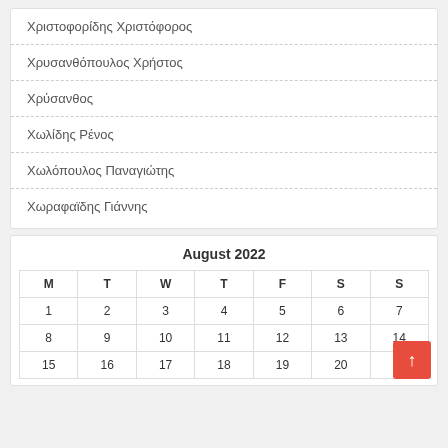Χριστοφορίδης Χριστόφορος
Χρυσανθόπουλος Χρήστος
Χρύσανθος
Χωλίδης Ρένος
Χωλόπουλος Παναγιώτης
Χωραφαϊδης Γιάννης
August 2022
| M | T | W | T | F | S | S |
| --- | --- | --- | --- | --- | --- | --- |
| 1 | 2 | 3 | 4 | 5 | 6 | 7 |
| 8 | 9 | 10 | 11 | 12 | 13 | 14 |
| 15 | 16 | 17 | 18 | 19 | 20 | 21 |